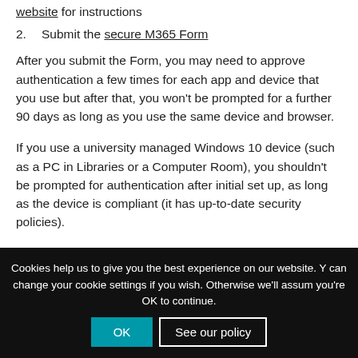website for instructions
2.  Submit the secure M365 Form
After you submit the Form, you may need to approve authentication a few times for each app and device that you use but after that, you won’t be prompted for a further 90 days as long as you use the same device and browser.
If you use a university managed Windows 10 device (such as a PC in Libraries or a Computer Room), you shouldn’t be prompted for authentication after initial set up, as long as the device is compliant (it has up-to-date security policies).
On each deadline date, users’ 365 accounts will have a
Cookies help us to give you the best experience on our website. You can change your cookie settings if you wish. Otherwise we'll assume you're OK to continue.